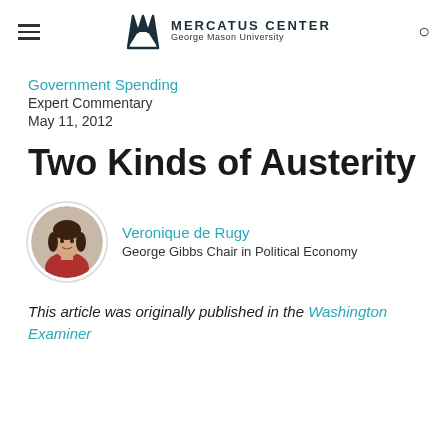Mercatus Center — George Mason University
Government Spending
Expert Commentary
May 11, 2012
Two Kinds of Austerity
Veronique de Rugy — George Gibbs Chair in Political Economy
This article was originally published in the Washington Examiner